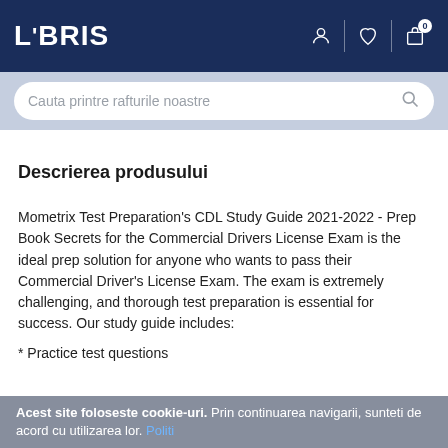LIBRIS
Cauta printre rafturile noastre
Descrierea produsului
Mometrix Test Preparation's CDL Study Guide 2021-2022 - Prep Book Secrets for the Commercial Drivers License Exam is the ideal prep solution for anyone who wants to pass their Commercial Driver's License Exam. The exam is extremely challenging, and thorough test preparation is essential for success. Our study guide includes:
* Practice test questions
Acest site foloseste cookie-uri. Prin continuarea navigarii, sunteti de acord cu utilizarea lor. Politii